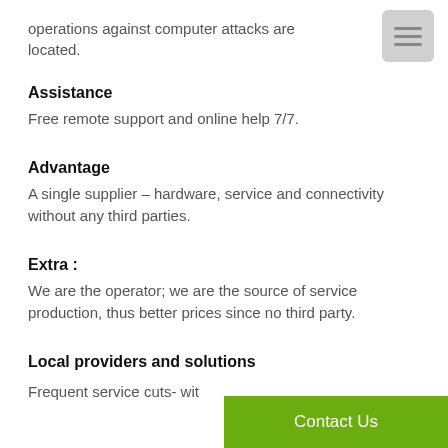operations against computer attacks are located.
Assistance
Free remote support and online help 7/7.
Advantage
A single supplier – hardware, service and connectivity without any third parties.
Extra :
We are the operator; we are the source of service production, thus better prices since no third party.
Local providers and solutions
Frequent service cuts- wit
Contact Us